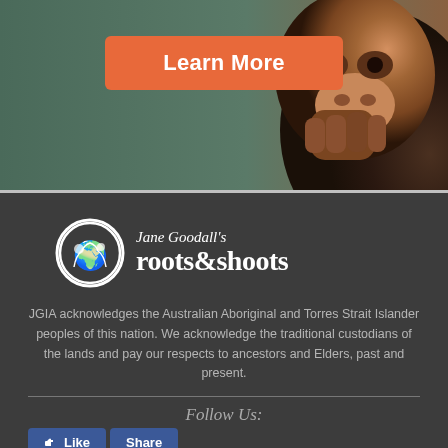[Figure (photo): Close-up photo of a chimpanzee face against a teal/dark green background]
Learn More
[Figure (logo): Jane Goodall's Roots & Shoots logo — circular emblem with figures and globe, white on dark background]
JGIA acknowledges the Australian Aboriginal and Torres Strait Islander peoples of this nation. We acknowledge the traditional custodians of the lands and pay our respects to ancestors and Elders, past and present.
Follow Us:
[Figure (screenshot): Facebook Like and Share buttons]